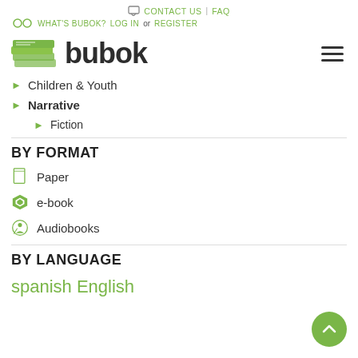CONTACT US | FAQ
WHAT'S BUBOK? LOG IN or REGISTER
[Figure (logo): Bubok logo with green stacked pages icon and 'bubok' wordmark]
Children & Youth
Narrative
Fiction
BY FORMAT
Paper
e-book
Audiobooks
BY LANGUAGE
spanish English